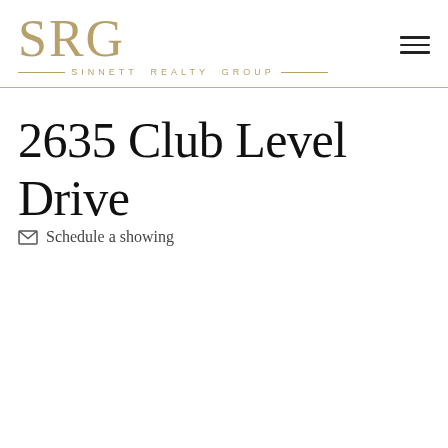[Figure (logo): Sinnett Realty Group logo with stylized SRG letters in gold and company name with horizontal lines]
2635 Club Level Drive
Schedule a showing